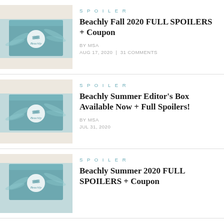[Figure (photo): Teal Beachly subscription box with palm leaf design and circular logo]
SPOILER
Beachly Fall 2020 FULL SPOILERS + Coupon
BY MSA
AUG 17, 2020 | 31 COMMENTS
[Figure (photo): Teal Beachly subscription box with palm leaf design and circular logo]
SPOILER
Beachly Summer Editor's Box Available Now + Full Spoilers!
BY MSA
JUL 31, 2020
[Figure (photo): Teal Beachly subscription box with palm leaf design and circular logo]
SPOILER
Beachly Summer 2020 FULL SPOILERS + Coupon